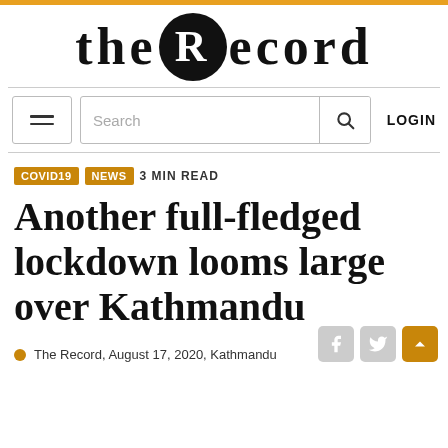[Figure (logo): The Record logo: lowercase 'the' followed by a black circle with white 'R' and 'ecord' text in bold serif font]
[Figure (screenshot): Navigation bar with hamburger menu button, search box with magnifying glass icon, and LOGIN button]
COVID19  NEWS  3 MIN READ
Another full-fledged lockdown looms large over Kathmandu
The Record, August 17, 2020, Kathmandu